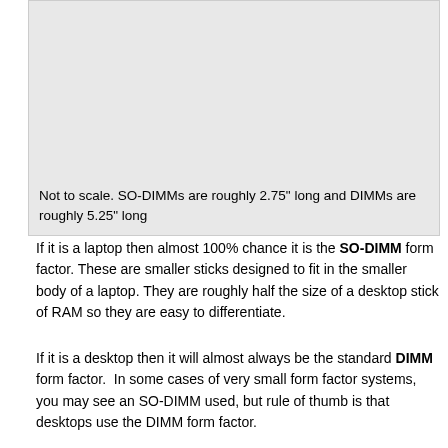[Figure (photo): Image area showing SO-DIMM and DIMM memory modules for size comparison (not to scale). Gray placeholder area.]
Not to scale. SO-DIMMs are roughly 2.75" long and DIMMs are roughly 5.25" long
If it is a laptop then almost 100% chance it is the SO-DIMM form factor. These are smaller sticks designed to fit in the smaller body of a laptop. They are roughly half the size of a desktop stick of RAM so they are easy to differentiate.
If it is a desktop then it will almost always be the standard DIMM form factor.  In some cases of very small form factor systems, you may see an SO-DIMM used, but rule of thumb is that desktops use the DIMM form factor.